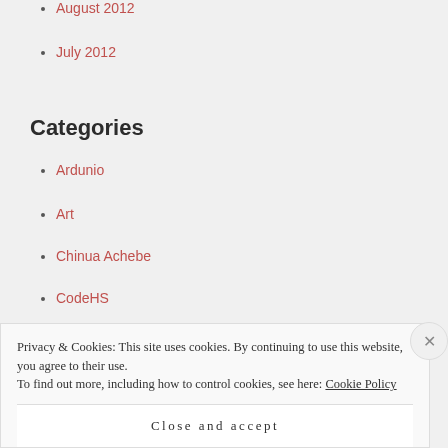August 2012
July 2012
Categories
Ardunio
Art
Chinua Achebe
CodeHS
Computer Coding
Conference
Privacy & Cookies: This site uses cookies. By continuing to use this website, you agree to their use.
To find out more, including how to control cookies, see here: Cookie Policy
Close and accept